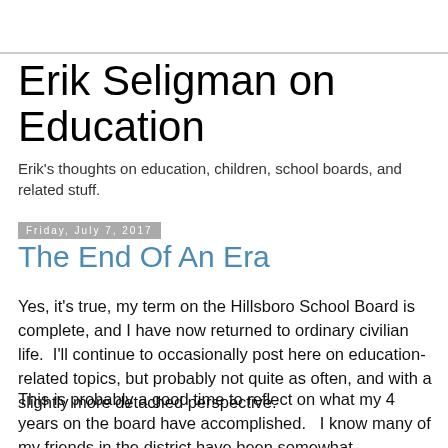Erik Seligman on Education
Erik's thoughts on education, children, school boards, and related stuff.
Friday, July 7, 2017
The End Of An Era
Yes, it's true, my term on the Hillsboro School Board is complete, and I have now returned to ordinary civilian life.  I'll continue to occasionally post here on education-related topics, but probably not quite as often, and with a slightly more detached perspective.
This is probably a good time to reflect on what my 4 years on the board have accomplished.   I know many of my friends in the district have been somewhat disappointed by the recent election, where all four of the candidates who I endorsed ended up losing.   (In any case, it justifies my decision not to